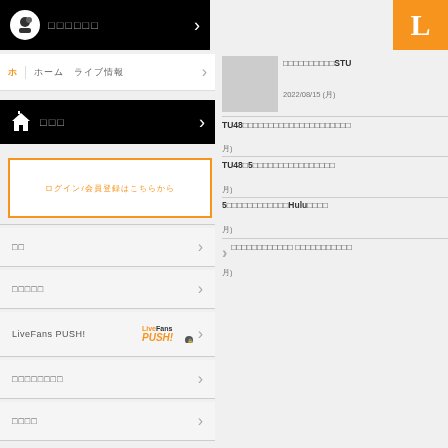[Figure (screenshot): Black navigation bar with chef/cloud icon and Japanese text, white arrow on right]
[Figure (logo): Orange LiveFans logo partial, letter L visible]
ホ｜ホーム　ライブ情報
[Figure (screenshot): Black bar with house icon and Japanese text ホーム]
ログイン/会員登録はこちらから
履歴
お気に入り
LiveFans PUSH!
プッシュ通知設定
設定変更
ヘルプ
xxxxxxxxxxxxxxxxSTU
2022/08/15 (月)
TU48xxxxxxxxxxxxxxxxxxxxxxx
TU4815xxxxxxxxxxxxxxxx
5xxxxxxxxxxxHuluxxxx
xxxxxxxxxxxx xxxxxxxxxxx